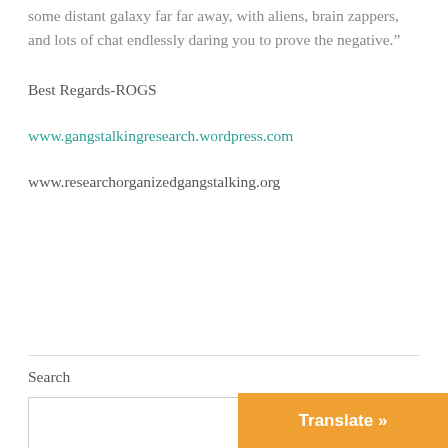some distant galaxy far far away, with aliens, brain zappers, and lots of chat endlessly daring you to prove the negative.”
Best Regards-ROGS
www.gangstalkingresearch.wordpress.com
www.researchorganizedgangstalking.org
Search